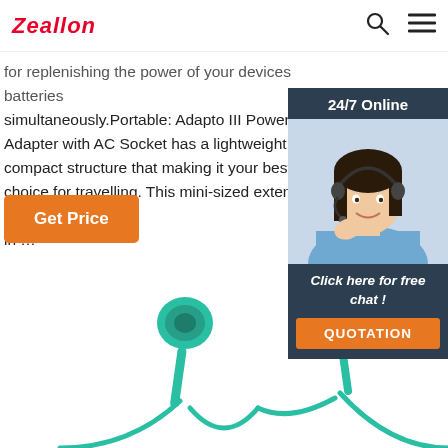Zeallon
for replenishing the power of your devices batteries simultaneously.Portable: Adapto III Power Adapter with AC Socket has a lightweight and compact structure that making it your best choice for travelling. This mini-sized extended plu… in …
Get Price
[Figure (photo): Chat widget with 24/7 Online label, photo of a female customer service agent wearing headset, 'Click here for free chat!' text, and QUOTATION button]
[Figure (photo): Green wireless in-ear earphones/earbuds shown from below, partially cut off at bottom of page]